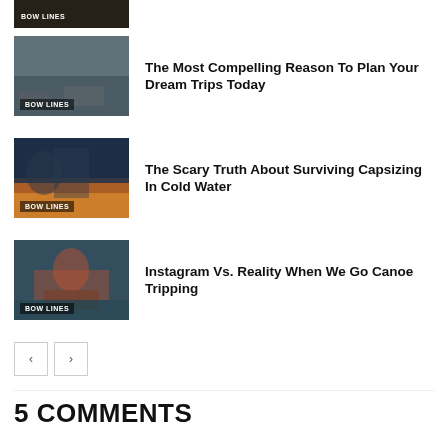[Figure (photo): Partial thumbnail of outdoor/water scene with BOW LINES label at top of page]
[Figure (photo): Rocky coastal landscape photo thumbnail with BOW LINES label]
The Most Compelling Reason To Plan Your Dream Trips Today
[Figure (photo): Person wading in water at sunset photo thumbnail with BOW LINES label]
The Scary Truth About Surviving Capsizing In Cold Water
[Figure (photo): Person in red canoe on water photo thumbnail with BOW LINES label]
Instagram Vs. Reality When We Go Canoe Tripping
< >
5 COMMENTS